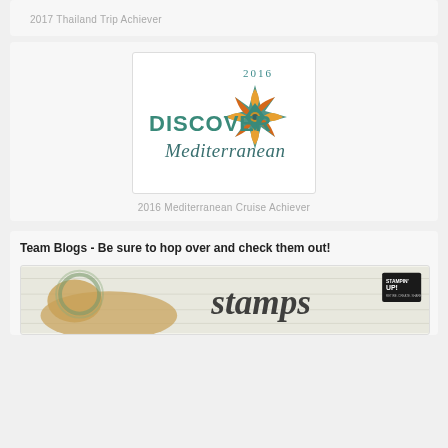2017 Thailand Trip Achiever
[Figure (logo): 2016 Discover Mediterranean cruise logo with decorative compass rose design in teal, orange and gold colors, with text 'DISCOVER Mediterranean' and '2016']
2016 Mediterranean Cruise Achiever
Team Blogs - Be sure to hop over and check them out!
[Figure (photo): Stampin' Up! team blog banner showing a horse with floral wreath and the word 'stamps' in script lettering with Stampin' Up! logo]